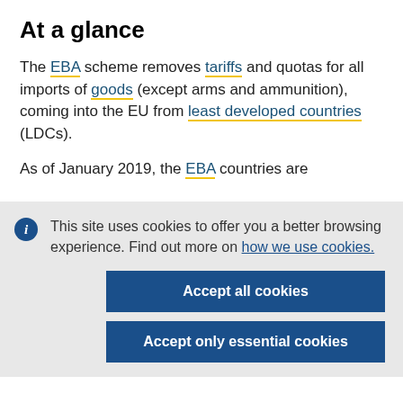At a glance
The EBA scheme removes tariffs and quotas for all imports of goods (except arms and ammunition), coming into the EU from least developed countries (LDCs).
As of January 2019, the EBA countries are
This site uses cookies to offer you a better browsing experience. Find out more on how we use cookies.